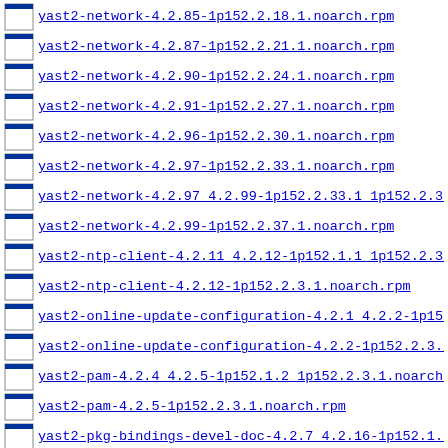yast2-network-4.2.85-1p152.2.18.1.noarch.rpm
yast2-network-4.2.87-1p152.2.21.1.noarch.rpm
yast2-network-4.2.90-1p152.2.24.1.noarch.rpm
yast2-network-4.2.91-1p152.2.27.1.noarch.rpm
yast2-network-4.2.96-1p152.2.30.1.noarch.rpm
yast2-network-4.2.97-1p152.2.33.1.noarch.rpm
yast2-network-4.2.97 4.2.99-1p152.2.33.1 1p152.2.37.1
yast2-network-4.2.99-1p152.2.37.1.noarch.rpm
yast2-ntp-client-4.2.11 4.2.12-1p152.1.1 1p152.2.3.1.
yast2-ntp-client-4.2.12-1p152.2.3.1.noarch.rpm
yast2-online-update-configuration-4.2.1 4.2.2-1p152.1
yast2-online-update-configuration-4.2.2-1p152.2.3.1.n
yast2-pam-4.2.4 4.2.5-1p152.1.2 1p152.2.3.1.noarch.dr
yast2-pam-4.2.5-1p152.2.3.1.noarch.rpm
yast2-pkg-bindings-devel-doc-4.2.7 4.2.16-1p152.1.1 1
yast2-pkg-bindings-devel-doc-4.2.8-1p152.2.3.1.noarch
yast2-pkg-bindings-devel-doc-4.2.10-1p152.2.6.1.noarc